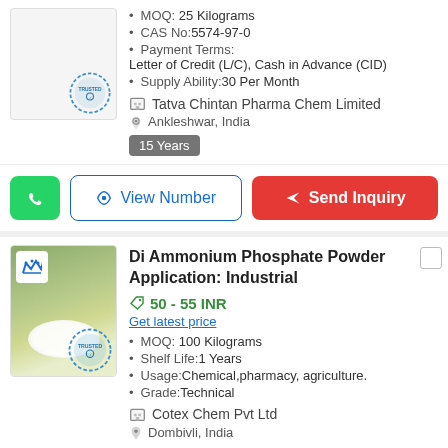MOQ: 25 Kilograms
CAS No:5574-97-0
Payment Terms:Letter of Credit (L/C), Cash in Advance (CID)
Supply Ability:30 Per Month
Tatva Chintan Pharma Chem Limited
Ankleshwar, India
15 Years
View Number
Send Inquiry
Di Ammonium Phosphate Powder Application: Industrial
50 - 55 INR
Get latest price
MOQ: 100 Kilograms
Shelf Life:1 Years
Usage:Chemical,pharmacy, agriculture.
Grade:Technical
Cotex Chem Pvt Ltd
Dombivli, India